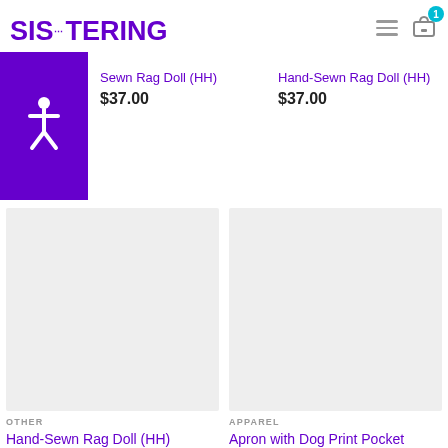[Figure (logo): SISTERING logo in purple bold text with hamburger menu and cart icon with badge showing 1]
[Figure (illustration): Purple accessibility icon box on left side]
Hand-Sewn Rag Doll (HH)
$37.00
Hand-Sewn Rag Doll (HH)
$37.00
[Figure (photo): Product image placeholder for Hand-Sewn Rag Doll (HH), light gray background]
OTHER
Hand-Sewn Rag Doll (HH)
[Figure (photo): Product image placeholder for Apron with Dog Print Pocket, light gray background]
APPAREL
Apron with Dog Print Pocket